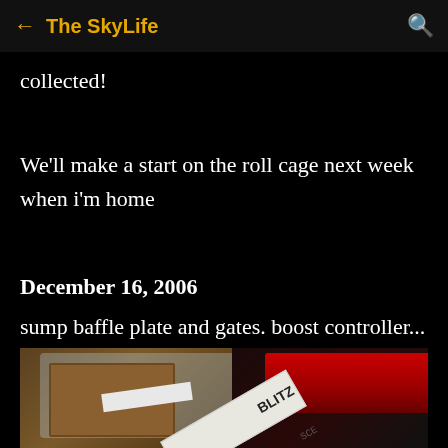← The SkyLife 🔍
collected!
We'll make a start on the roll cage next week when i'm home
December 16, 2006
sump baffle plate and gates. boost controller...
[Figure (photo): Photo showing cardboard boxes with bubble-wrapped items on the left and a red BLITZ branded device/controller on the right side]